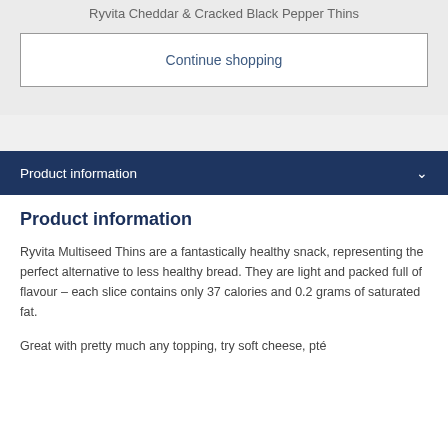Ryvita Cheddar & Cracked Black Pepper Thins
Continue shopping
Product information
Product information
Ryvita Multiseed Thins are a fantastically healthy snack, representing the perfect alternative to less healthy bread. They are light and packed full of flavour – each slice contains only 37 calories and 0.2 grams of saturated fat.
Great with pretty much any topping, try soft cheese, pté